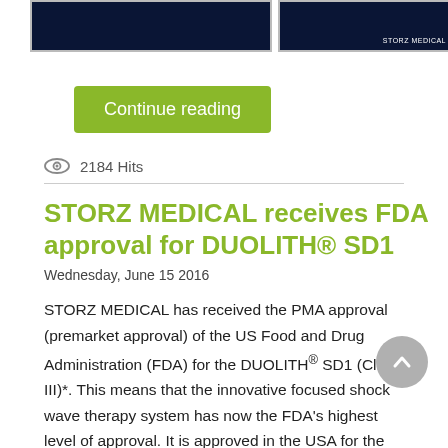[Figure (photo): Two dark blue/teal medical imagery thumbnails side by side with borders]
Continue reading
2184 Hits
STORZ MEDICAL receives FDA approval for DUOLITH® SD1
Wednesday, June 15 2016
STORZ MEDICAL has received the PMA approval (premarket approval) of the US Food and Drug Administration (FDA) for the DUOLITH® SD1 (Class III)*. This means that the innovative focused shock wave therapy system has now the FDA's highest level of approval. It is approved in the USA for the treatment of